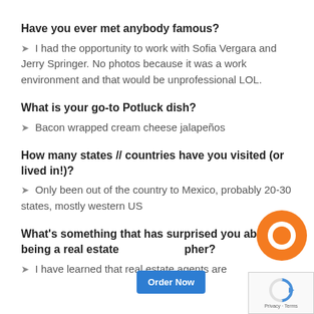Have you ever met anybody famous?
➤ I had the opportunity to work with Sofia Vergara and Jerry Springer. No photos because it was a work environment and that would be unprofessional LOL.
What is your go-to Potluck dish?
➤ Bacon wrapped cream cheese jalapeños
How many states // countries have you visited (or lived in!)?
➤ Only been out of the country to Mexico, probably 20-30 states, mostly western US
What's something that has surprised you about being a real estate photographer?
➤ I have learned that real estate agents are